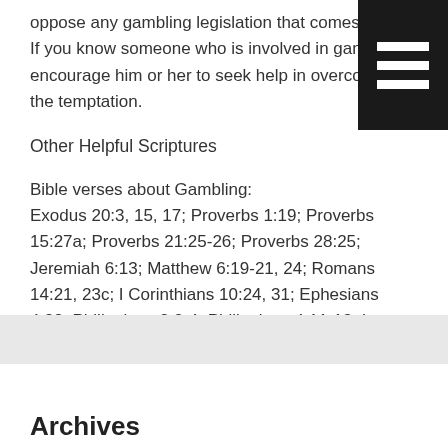oppose any gambling legislation that comes before. If you know someone who is involved in gambling, encourage him or her to seek help in overcoming the temptation.
[Figure (other): Black menu/hamburger icon button in top-right corner with three white horizontal bars on black background]
Other Helpful Scriptures
Bible verses about Gambling:
Exodus 20:3, 15, 17; Proverbs 1:19; Proverbs 15:27a; Proverbs 21:25-26; Proverbs 28:25; Jeremiah 6:13; Matthew 6:19-21, 24; Romans 14:21, 23c; I Corinthians 10:24, 31; Ephesians 4:28; Philippians 2:3-4; Philippians 4:11-13; I Thessalonians 5:22; II Thessalonians 3:6-12; I Timothy 5:8; I Timothy 6:10
Archives